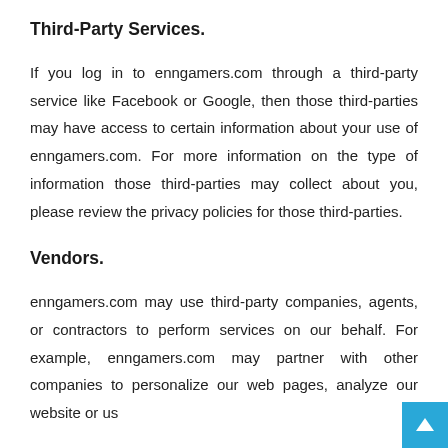Third-Party Services.
If you log in to enngamers.com through a third-party service like Facebook or Google, then those third-parties may have access to certain information about your use of enngamers.com. For more information on the type of information those third-parties may collect about you, please review the privacy policies for those third-parties.
Vendors.
enngamers.com may use third-party companies, agents, or contractors to perform services on our behalf. For example, enngamers.com may partner with other companies to personalize our web pages, analyze our website or us…